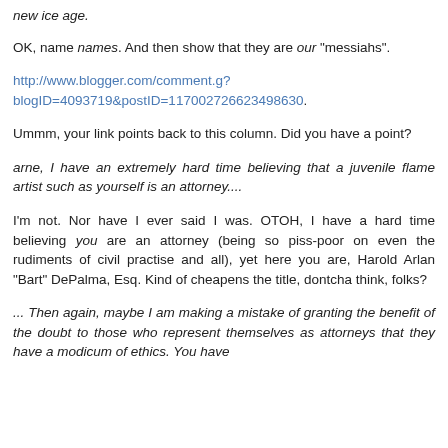new ice age.
OK, name names. And then show that they are our "messiahs".
http://www.blogger.com/comment.g?blogID=4093719&postID=117002726623498630.
Ummm, your link points back to this column. Did you have a point?
arne, I have an extremely hard time believing that a juvenile flame artist such as yourself is an attorney....
I'm not. Nor have I ever said I was. OTOH, I have a hard time believing you are an attorney (being so piss-poor on even the rudiments of civil practise and all), yet here you are, Harold Arlan "Bart" DePalma, Esq. Kind of cheapens the title, dontcha think, folks?
... Then again, maybe I am making a mistake of granting the benefit of the doubt to those who represent themselves as attorneys that they have a modicum of ethics. You have